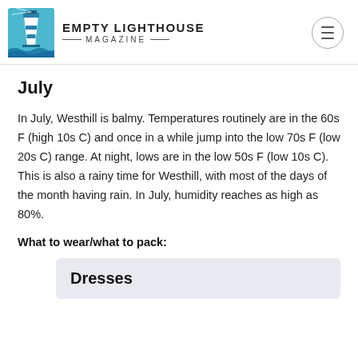EMPTY LIGHTHOUSE MAGAZINE
July
In July, Westhill is balmy. Temperatures routinely are in the 60s F (high 10s C) and once in a while jump into the low 70s F (low 20s C) range. At night, lows are in the low 50s F (low 10s C). This is also a rainy time for Westhill, with most of the days of the month having rain. In July, humidity reaches as high as 80%.
What to wear/what to pack:
Dresses